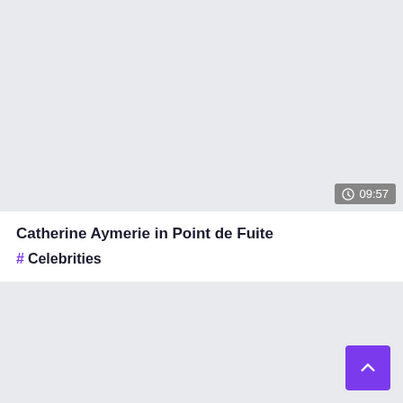[Figure (screenshot): Video thumbnail area — light gray background with a duration badge showing a clock icon and '09:57' in the bottom-right corner]
Catherine Aymerie in Point de Fuite
# Celebrities
[Figure (screenshot): Light gray background area with a purple scroll-to-top button (chevron up arrow) in the bottom-right corner]